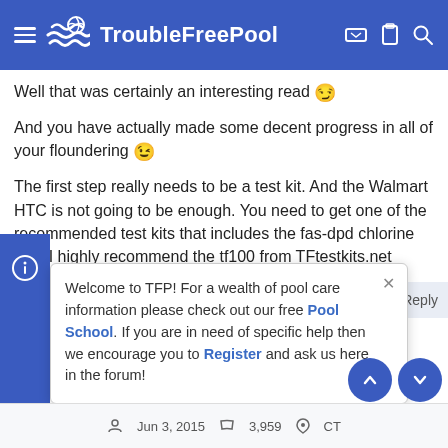TroubleFreePool
Well that was certainly an interesting read 😏
And you have actually made some decent progress in all of your floundering 😉
The first step really needs to be a test kit. And the Walmart HTC is not going to be enough. You need to get one of the recommended test kits that includes the fas-dpd chlorine test. I highly recommend the tf100 from TFtestkits.net
Welcome to TFP! For a wealth of pool care information please check out our free Pool School. If you are in need of specific help then we encourage you to Register and ask us here in the forum!
Jun 3, 2015   3,959   CT